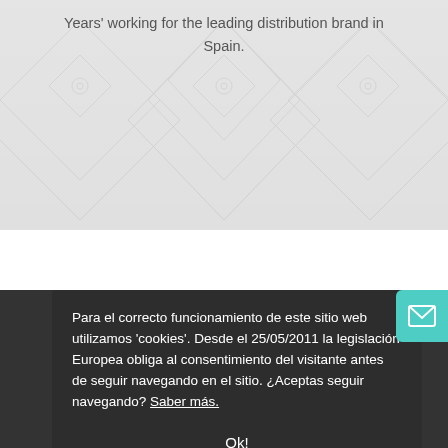Years' working for the leading distribution brand in Spain.
Para el correcto funcionamiento de este sitio web utilizamos 'cookies'. Desde el 25/05/2011 la legislación Europea obliga al consentimiento del visitante antes de seguir navegando en el sitio. ¿Aceptas seguir navegando? Saber más.
Ok!
To make everyone love what we love to do
Our mission is to be specialists in the manufacture of